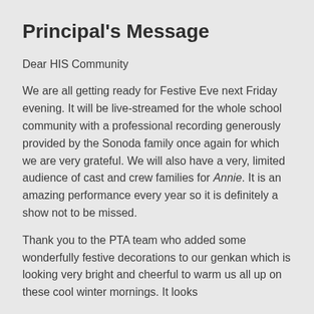Principal's Message
Dear HIS Community
We are all getting ready for Festive Eve next Friday evening. It will be live-streamed for the whole school community with a professional recording generously provided by the Sonoda family once again for which we are very grateful. We will also have a very, limited audience of cast and crew families for Annie. It is an amazing performance every year so it is definitely a show not to be missed.
Thank you to the PTA team who added some wonderfully festive decorations to our genkan which is looking very bright and cheerful to warm us all up on these cool winter mornings. It looks